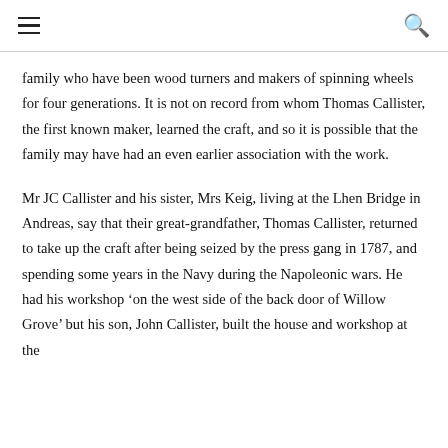≡ [hamburger menu] [search icon]
family who have been wood turners and makers of spinning wheels for four generations. It is not on record from whom Thomas Callister, the first known maker, learned the craft, and so it is possible that the family may have had an even earlier association with the work.
Mr JC Callister and his sister, Mrs Keig, living at the Lhen Bridge in Andreas, say that their great-grandfather, Thomas Callister, returned to take up the craft after being seized by the press gang in 1787, and spending some years in the Navy during the Napoleonic wars. He had his workshop 'on the west side of the back door of Willow Grove' but his son, John Callister, built the house and workshop at the